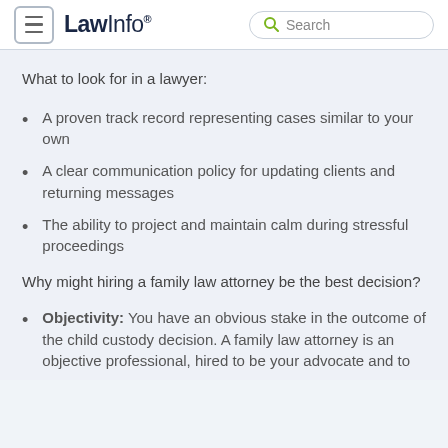LawInfo. Search
What to look for in a lawyer:
A proven track record representing cases similar to your own
A clear communication policy for updating clients and returning messages
The ability to project and maintain calm during stressful proceedings
Why might hiring a family law attorney be the best decision?
Objectivity: You have an obvious stake in the outcome of the child custody decision. A family law attorney is an objective professional, hired to be your advocate and to